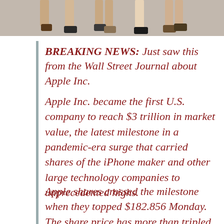[Figure (photo): Cropped photo showing legs and feet of several people standing, viewed from below the knees, on a light background.]
BREAKING NEWS: Just saw this from the Wall Street Journal about Apple Inc.
Apple Inc. became the first U.S. company to reach $3 trillion in market value, the latest milestone in a pandemic-era surge that carried shares of the iPhone maker and other large technology companies to unprecedented highs.
Apple shares crossed the milestone when they topped $182.856 Monday. The share price has more than tripled since the